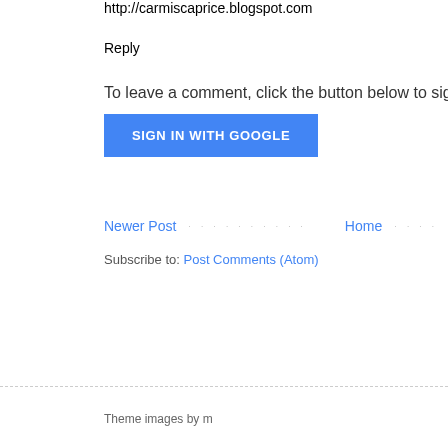http://carmiscaprice.blogspot.com
Reply
To leave a comment, click the button below to sign in wi
[Figure (other): Blue 'SIGN IN WITH GOOGLE' button]
Newer Post · · · · · · · · · · · Home · · · ·
Subscribe to: Post Comments (Atom)
Theme images by m